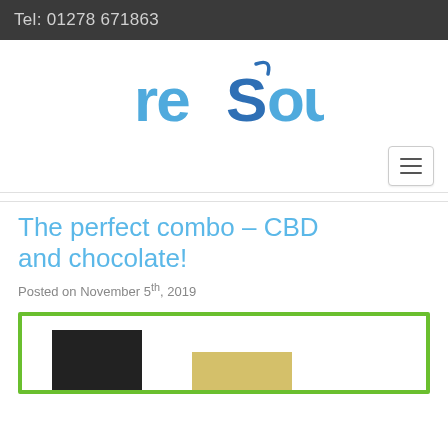Tel: 01278 671863
[Figure (logo): reSource logo in blue stylized font]
The perfect combo – CBD and chocolate!
Posted on November 5th, 2019
[Figure (photo): Product image showing chocolate bar and other product in a green-bordered box]